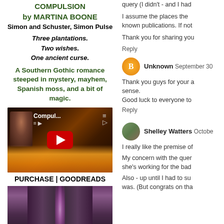COMPULSION
by MARTINA BOONE
Simon and Schuster, Simon Pulse
Three plantations.
Two wishes.
One ancient curse.
A Southern Gothic romance steeped in mystery, mayhem, Spanish moss, and a bit of magic.
[Figure (screenshot): YouTube video thumbnail for 'Compul...' showing a woman and fire effects with a red play button]
PURCHASE | GOODREADS
[Figure (photo): Dark doorway image with purple/pink glowing light between two doors]
query (I didn't - and I had
I assume the places the known publications. If not
Thank you for sharing you
Reply
Unknown  September 30
Thank you guys for your a sense.
Good luck to everyone to
Reply
Shelley Watters  Octobe
I really like the premise of
My concern with the quer she's working for the bad
Also - up until I had to su was. (But congrats on tha